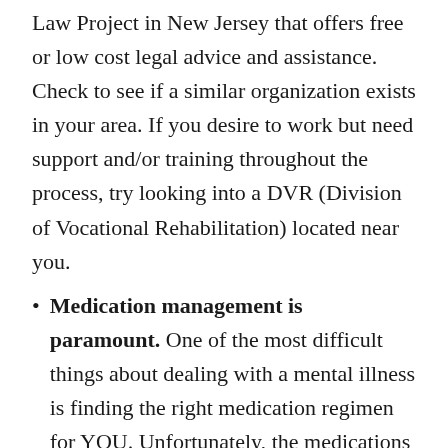Law Project in New Jersey that offers free or low cost legal advice and assistance. Check to see if a similar organization exists in your area. If you desire to work but need support and/or training throughout the process, try looking into a DVR (Division of Vocational Rehabilitation) located near you.
Medication management is paramount. One of the most difficult things about dealing with a mental illness is finding the right medication regimen for YOU. Unfortunately, the medications that treat some mental illnesses (like depression and OCD) can take six to eight weeks until you receive the full effects of their benefits. Also,